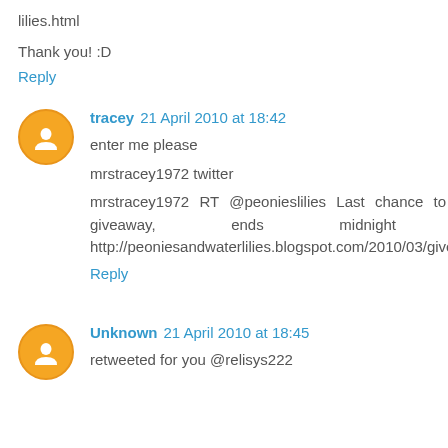lilies.html
Thank you! :D
Reply
tracey  21 April 2010 at 18:42
enter me please
mrstracey1972 twitter
mrstracey1972 RT @peonieslilies Last chance to enter my giveaway, ends midnight tonight: http://peoniesandwaterlilies.blogspot.com/2010/03/giveaway.html
Reply
Unknown  21 April 2010 at 18:45
retweeted for you @relisys222